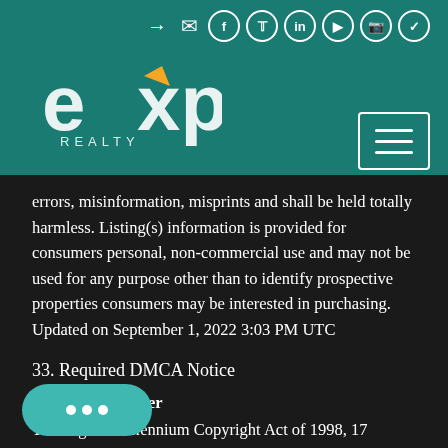[Figure (logo): eXp Realty logo with orange accent mark on teal header background]
errors, misinformation, misprints and shall be held totally harmless. Listing(s) information is provided for consumers personal, non-commercial use and may not be used for any purpose other than to identify prospective properties consumers may be interested in purchasing. Updated on September 1, 2022 3:03 PM UTC
33. Required DMCA Notice
DMCA Disclaimer
The Digital Millennium Copyright Act of 1998, 17 U.S.C. §MCA, provides recourse for copyright owners who believe that material appearing on the Internet